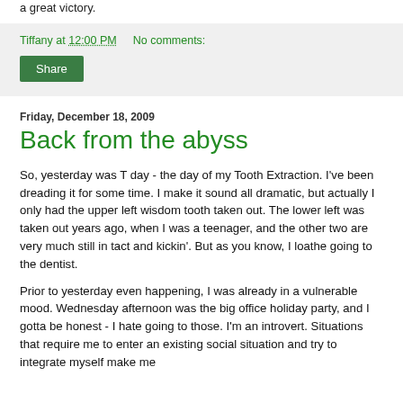a great victory.
Tiffany at 12:00 PM   No comments:
Share
Friday, December 18, 2009
Back from the abyss
So, yesterday was T day - the day of my Tooth Extraction. I've been dreading it for some time. I make it sound all dramatic, but actually I only had the upper left wisdom tooth taken out. The lower left was taken out years ago, when I was a teenager, and the other two are very much still in tact and kickin'. But as you know, I loathe going to the dentist.
Prior to yesterday even happening, I was already in a vulnerable mood. Wednesday afternoon was the big office holiday party, and I gotta be honest - I hate going to those. I'm an introvert. Situations that require me to enter an existing social situation and try to integrate myself make me